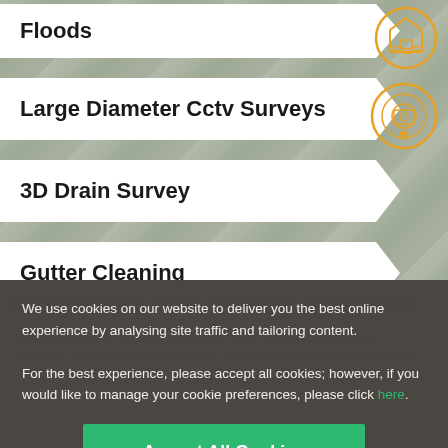Floods
Large Diameter Cctv Surveys
3D Drain Survey
Gutter Cleaning
We use cookies on our website to deliver you the best online experience by analysing site traffic and tailoring content.

For the best experience, please accept all cookies; however, if you would like to manage your cookie preferences, please click here.
Accept All Cookies